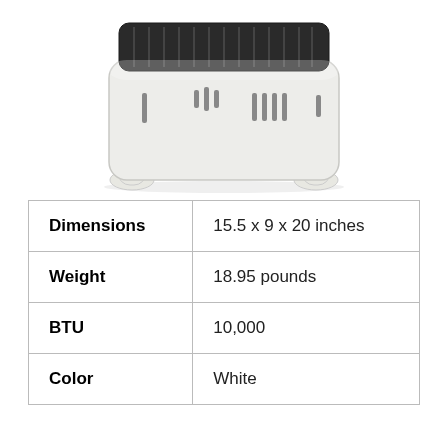[Figure (photo): White portable propane/gas heater with two leg feet, ventilation slots on the front panel, and dark grill on top, viewed from a front-low angle on white background.]
| Dimensions | 15.5 x 9 x 20 inches |
| Weight | 18.95 pounds |
| BTU | 10,000 |
| Color | White |